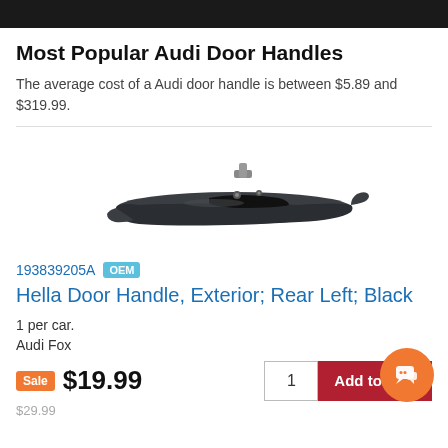Most Popular Audi Door Handles
The average cost of a Audi door handle is between $5.89 and $319.99.
[Figure (photo): Audi door handle, exterior rear left in black, product photo on white background]
193839205A OEM
Hella Door Handle, Exterior; Rear Left; Black
1 per car.
Audi Fox
Sale $19.99
$29.99